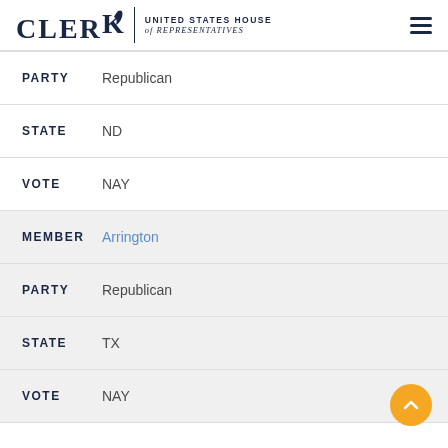CLERK United States House of Representatives
PARTY Republican
STATE ND
VOTE NAY
MEMBER Arrington
PARTY Republican
STATE TX
VOTE NAY